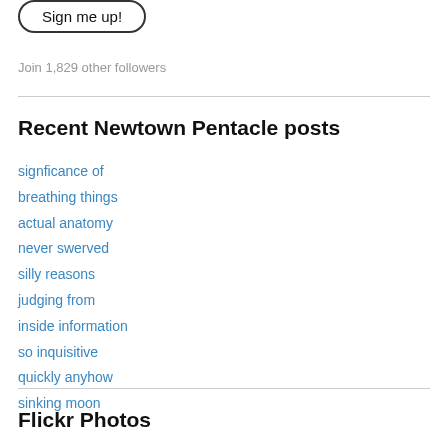[Figure (other): Sign me up! button with rounded border]
Join 1,829 other followers
Recent Newtown Pentacle posts
signficance of
breathing things
actual anatomy
never swerved
silly reasons
judging from
inside information
so inquisitive
quickly anyhow
sinking moon
Flickr Photos